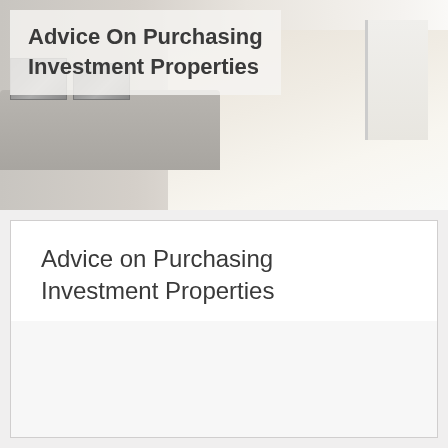[Figure (photo): Hero banner photo of a modern interior room with wooden floor, a white table with metal books/folders on it, and a window with white curtains in the background. Overlaid with a semi-transparent white box containing the title text.]
Advice On Purchasing Investment Properties
Advice on Purchasing Investment Properties